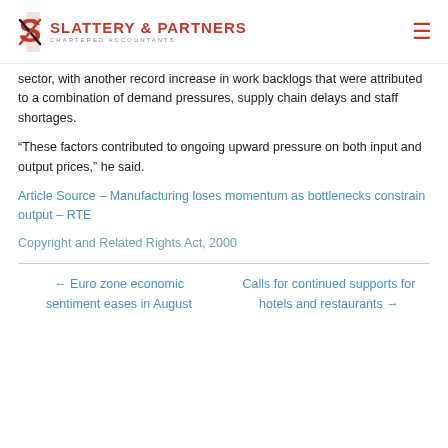SLATTERY & PARTNERS CHARTERED ACCOUNTANTS
sector, with another record increase in work backlogs that were attributed to a combination of demand pressures, supply chain delays and staff shortages.
“These factors contributed to ongoing upward pressure on both input and output prices,” he said.
Article Source – Manufacturing loses momentum as bottlenecks constrain output – RTE
Copyright and Related Rights Act, 2000
← Euro zone economic sentiment eases in August | Calls for continued supports for hotels and restaurants →